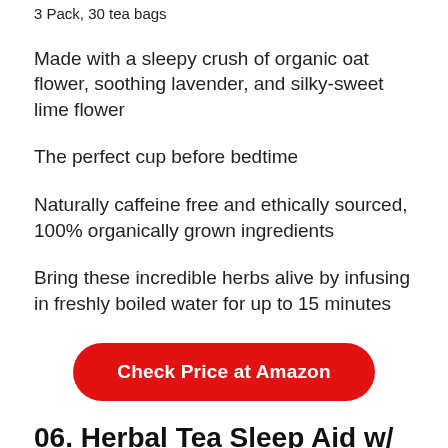3 Pack, 30 tea bags
Made with a sleepy crush of organic oat flower, soothing lavender, and silky-sweet lime flower
The perfect cup before bedtime
Naturally caffeine free and ethically sourced, 100% organically grown ingredients
Bring these incredible herbs alive by infusing in freshly boiled water for up to 15 minutes
Check Price at Amazon
06. Herbal Tea Sleep Aid w/